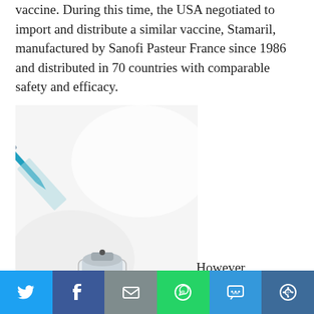vaccine. During this time, the USA negotiated to import and distribute a similar vaccine, Stamaril, manufactured by Sanofi Pasteur France since 1986 and distributed in 70 countries with comparable safety and efficacy.
[Figure (photo): A medical syringe with a green needle inserted into a small white vaccine vial, photographed on a white background.]
However, distribution of
Stamaril...
[Figure (infographic): Social media sharing bar with icons for Twitter, Facebook, Email, WhatsApp, SMS, and More options.]